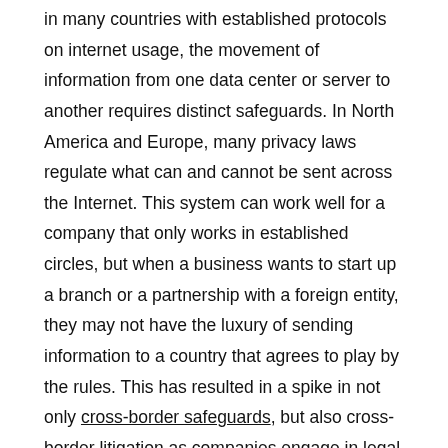in many countries with established protocols on internet usage, the movement of information from one data center or server to another requires distinct safeguards. In North America and Europe, many privacy laws regulate what can and cannot be sent across the Internet. This system can work well for a company that only works in established circles, but when a business wants to start up a branch or a partnership with a foreign entity, they may not have the luxury of sending information to a country that agrees to play by the rules. This has resulted in a spike in not only cross-border safeguards, but also cross-border litigation as companies engage in legal battles to make sure failsafes are in place or mistakes are held accountable. The spike, however, has created more demand for data disclosure, so that a company choosing to pursue legal action will need to shed light on its transfer protocols.
DATA LIFECYCLE MANAGEMENT